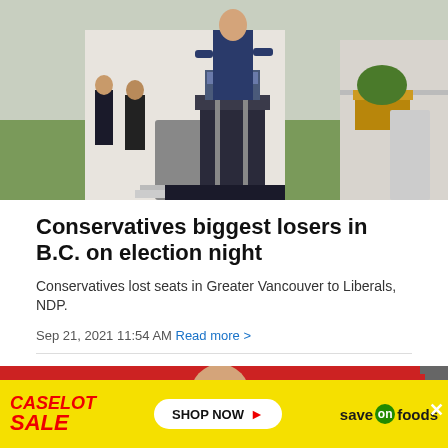[Figure (photo): A man in a suit speaking at a podium outdoors in front of a house, with two other people standing in the background on a lawn.]
Conservatives biggest losers in B.C. on election night
Conservatives lost seats in Greater Vancouver to Liberals, NDP.
Sep 21, 2021 11:54 AM Read more >
[Figure (photo): Partial photo of a person in front of a red background with a WILSON sign visible, partially obscured by an advertisement overlay.]
[Figure (other): Caselot Sale advertisement banner for Save-On Foods with yellow background, red text, and Shop Now button.]